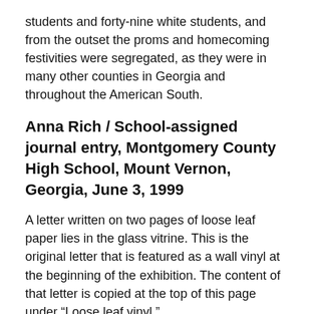students and forty-nine white students, and from the outset the proms and homecoming festivities were segregated, as they were in many other counties in Georgia and throughout the American South.
Anna Rich / School-assigned journal entry, Montgomery County High School, Mount Vernon, Georgia, June 3, 1999
A letter written on two pages of loose leaf paper lies in the glass vitrine. This is the original letter that is featured as a wall vinyl at the beginning of the exhibition. The content of that letter is copied at the top of this page under “Loose leaf vinyl.”
Label Text:
Notebook paper facsimile (recto) and facsimile (verso) with teacher’s grade and comments